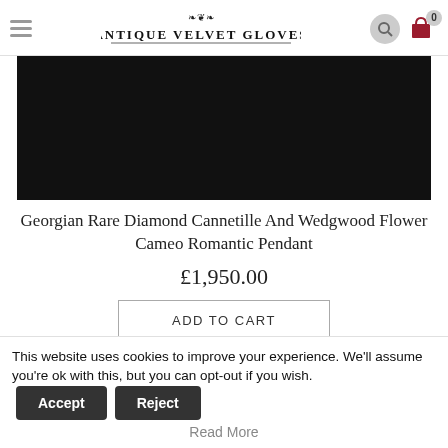Antique Velvet Gloves
[Figure (photo): Dark/black product image at top of page]
Georgian Rare Diamond Cannetille And Wedgwood Flower Cameo Romantic Pendant
£1,950.00
ADD TO CART
[Figure (photo): Dark/black product image at bottom of page (partially visible)]
This website uses cookies to improve your experience. We'll assume you're ok with this, but you can opt-out if you wish. Accept Reject
Read More